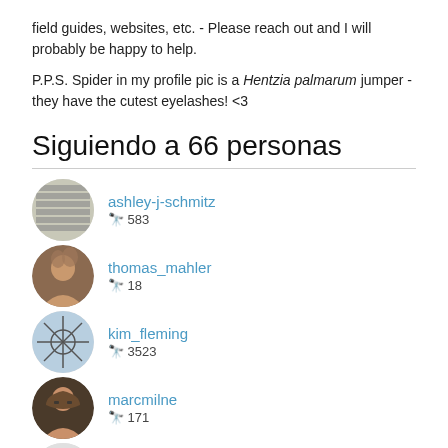field guides, websites, etc. - Please reach out and I will probably be happy to help.
P.P.S. Spider in my profile pic is a Hentzia palmarum jumper - they have the cutest eyelashes! <3
Siguiendo a 66 personas
ashley-j-schmitz 583
thomas_mahler 18
kim_fleming 3523
marcmilne 171
backyardmacrophotos 1121